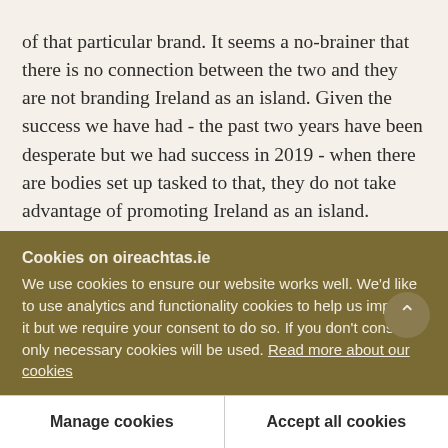of that particular brand. It seems a no-brainer that there is no connection between the two and they are not branding Ireland as an island. Given the success we have had - the past two years have been desperate but we had success in 2019 - when there are bodies set up tasked to that, they do not take advantage of promoting Ireland as an island.
It does not make sense at all not to include Antrim and Derry in the Wild Atlantic Way and the likes of
Cookies on oireachtas.ie
We use cookies to ensure our website works well. We'd like to use analytics and functionality cookies to help us improve it but we require your consent to do so. If you don't consent, only necessary cookies will be used. Read more about our cookies
Manage cookies
Accept all cookies